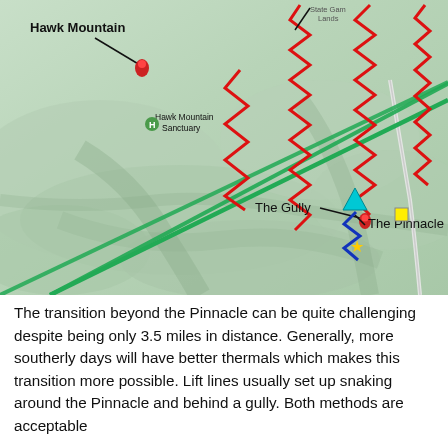[Figure (map): Topographic map showing Hawk Mountain area with labeled locations: Hawk Mountain, Hawk Mountain Sanctuary, The Gully, The Pinnacle. Red zigzag lines indicate lift/thermal lines across the ridge. A green diagonal line runs across the map. Blue zigzag lines near The Pinnacle. A cyan triangle marker and red pin markers are visible. A yellow star and yellow square marker also appear.]
The transition beyond the Pinnacle can be quite challenging despite being only 3.5 miles in distance. Generally, more southerly days will have better thermals which makes this transition more possible. Lift lines usually set up snaking around the Pinnacle and behind a gully. Both methods are acceptable